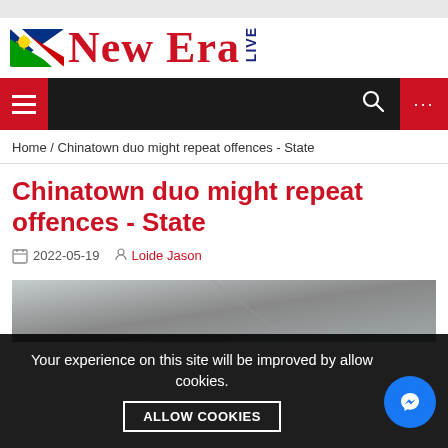[Figure (logo): New Era Live newspaper logo with Namibian flag and red serif text]
[Figure (other): Navigation bar with hamburger menu, search icon, and dots button on dark background]
Home / Chinatown duo might repeat offences - State
Chinatown duo might repeat offences - State
2022-05-19  Loide Jason
[Figure (photo): Partial article image with grey gradient background]
Your experience on this site will be improved by allowing cookies.  ALLOW COOKIES